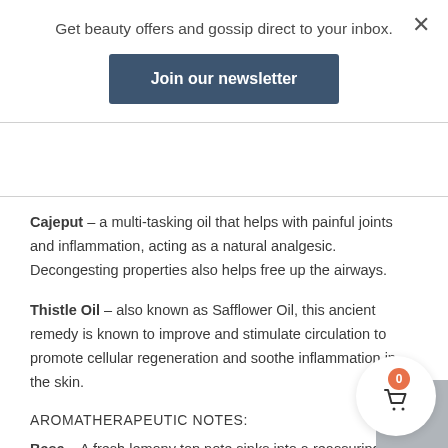Get beauty offers and gossip direct to your inbox.
Join our newsletter
Cajeput –  a multi-tasking oil that helps with painful joints and inflammation, acting as a natural analgesic. Decongesting properties also helps free up the airways.
Thistle Oil –  also known as Safflower Oil, this ancient remedy is known to improve and stimulate circulation to promote cellular regeneration and soothe inflammation in the skin.
AROMATHERAPEUTIC NOTES:
Base –  A fresh lemony top note sinks into a reassuring, wa... rich sweet balsamic undertone supported by the warming green